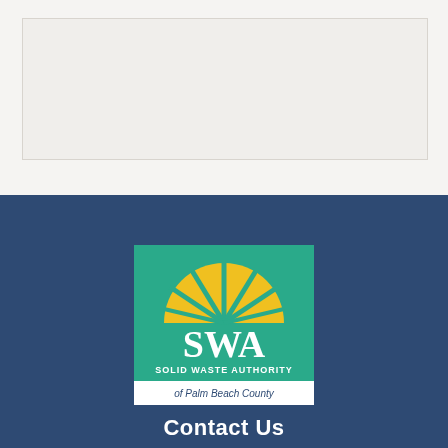[Figure (logo): SWA Solid Waste Authority of Palm Beach County logo — teal/green square background with yellow sunburst arc at top and white letters SWA below, with 'SOLID WASTE AUTHORITY' text and a white banner reading 'of Palm Beach County']
Contact Us